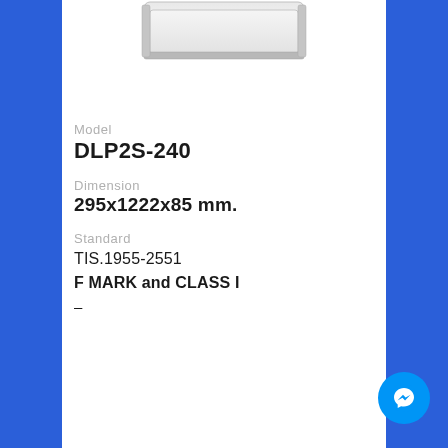[Figure (photo): Product photo of DLP2S-240 LED tube light fixture, viewed from below/front, white body with silver trim, shown against white background.]
Model
DLP2S-240
Dimension
295x1222x85 mm.
Standard
TIS.1955-2551
F MARK and CLASS I
–
|  |  |
| --- | --- |
| Power: | 2xLED TUBE (1200mm) |
| Color Temp: | - |
| Luminous Flux: | - |
| Control System: | Non-Dimmable |
| Lamp Holder: | G13 |
| Protection: | - |